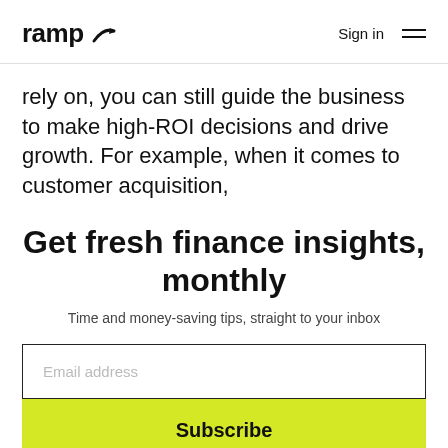ramp | Sign in
rely on, you can still guide the business to make high-ROI decisions and drive growth. For example, when it comes to customer acquisition,
Get fresh finance insights, monthly
Time and money-saving tips, straight to your inbox
Email address
Subscribe
No, thank you